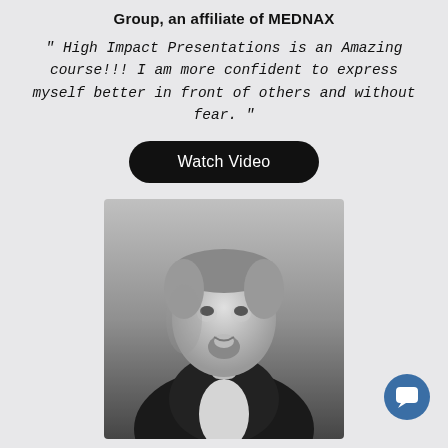Group, an affiliate of MEDNAX
" High Impact Presentations is an Amazing course!!! I am more confident to express myself better in front of others and without fear. "
Watch Video
[Figure (photo): Black and white portrait photo of Luis Otero, a middle-aged man with short salt-and-pepper hair and a beard, wearing a dark blazer and white shirt, looking slightly to his left.]
Luis Otero
CEO, Pro Global Media